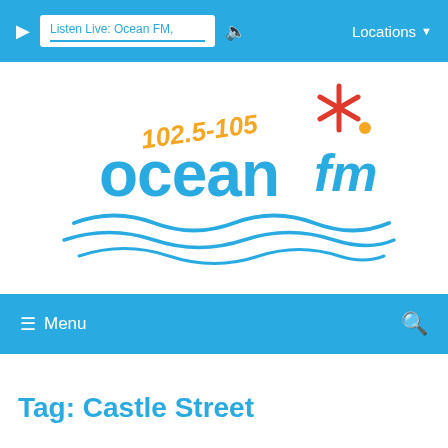Listen Live: Ocean FM, · Locations
[Figure (logo): Ocean FM radio station logo with text '102.5-105 ocean fm' in blue and orange hand-written style font with wave and starburst graphic elements]
≡ Menu
Tag: Castle Street